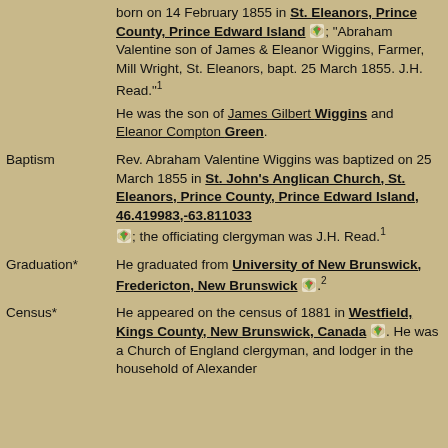born on 14 February 1855 in St. Eleanors, Prince County, Prince Edward Island [map]; "Abraham Valentine son of James & Eleanor Wiggins, Farmer, Mill Wright, St. Eleanors, bapt. 25 March 1855. J.H. Read."1
He was the son of James Gilbert Wiggins and Eleanor Compton Green.
Baptism: Rev. Abraham Valentine Wiggins was baptized on 25 March 1855 in St. John's Anglican Church, St. Eleanors, Prince County, Prince Edward Island, 46.419983,-63.811033 [map]; the officiating clergyman was J.H. Read.1
Graduation*: He graduated from University of New Brunswick, Fredericton, New Brunswick [map].2
Census*: He appeared on the census of 1881 in Westfield, Kings County, New Brunswick, Canada [map]. He was a Church of England clergyman, and lodger in the household of Alexander